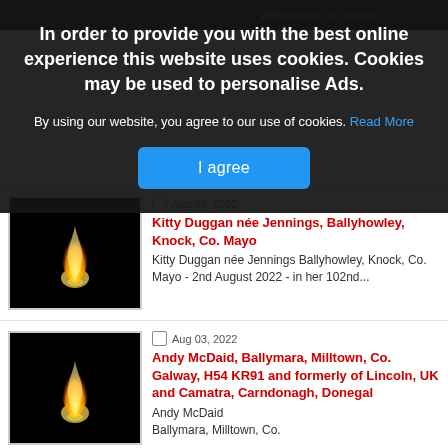In order to provide you with the best online experience this website uses cookies. Cookies may be used to personalise Ads.
By using our website, you agree to our use of cookies. Read More
I agree
[Figure (photo): Candle flame on black background]
Aug 03, 2022
Kitty Duggan née Jennings, Ballyhowley, Knock, Co. Mayo
Kitty Duggan née Jennings Ballyhowley, Knock, Co. Mayo - 2nd August 2022 - in her 102nd...
[Figure (photo): Candle flame on black background]
Aug 03, 2022
Andy McDaid, Ballymara, Milltown, Co. Galway, H54 KR91 and formerly of Lincoln, UK and Camatra, Carndonagh, Donegal
Andy McDaid Ballymara, Milltown, Co.